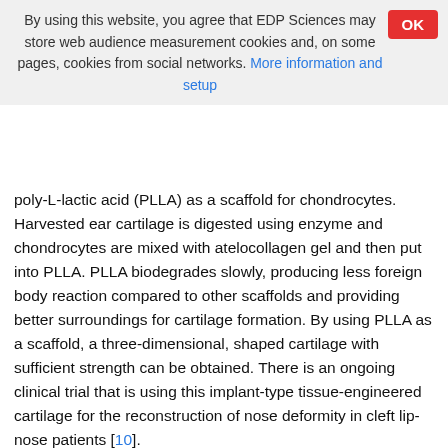By using this website, you agree that EDP Sciences may store web audience measurement cookies and, on some pages, cookies from social networks. More information and setup
poly-L-lactic acid (PLLA) as a scaffold for chondrocytes. Harvested ear cartilage is digested using enzyme and chondrocytes are mixed with atelocollagen gel and then put into PLLA. PLLA biodegrades slowly, producing less foreign body reaction compared to other scaffolds and providing better surroundings for cartilage formation. By using PLLA as a scaffold, a three-dimensional, shaped cartilage with sufficient strength can be obtained. There is an ongoing clinical trial that is using this implant-type tissue-engineered cartilage for the reconstruction of nose deformity in cleft lip-nose patients [10].
Regarding the ossification of the implant-type tissue-engineered cartilage produced by Hoshi et al., there are animal studies which proved no bone formation or mineralization when the tissue-engineered cartilage was